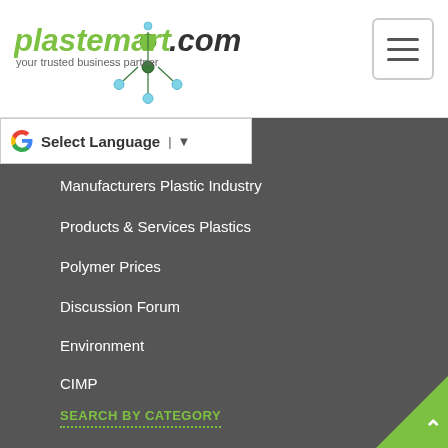[Figure (logo): Plastemart.com logo with green text and molecule graphic, tagline 'your trusted business partner']
[Figure (other): Hamburger menu button (three horizontal lines) in a rounded rectangle]
Select Language
Manufacturers Plastic Industry
Products & Services Plastics
Polymer Prices
Discussion Forum
Environment
CIMP
SEARCH BY CATEGORY
Additives & Masterbatches for Plastics
Auxiliary Plastic Equipment
Buyers and Traders
Consultants and Services